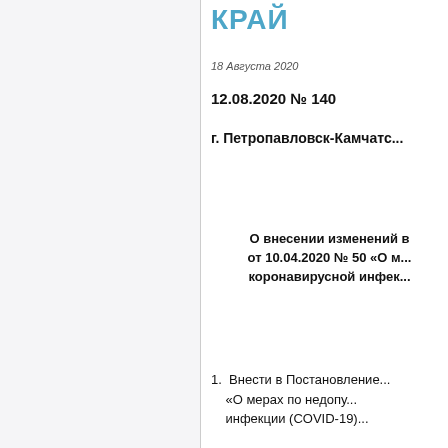КРАЙ
18 Августа 2020
12.08.2020 № 140
г. Петропавловск-Камча...
О внесении изменений в ... от 10.04.2020 № 50 «О м... коронавирусной инфек...
1. Внести в Постановление... «О мерах по недопу... инфекции (COVID-19)...